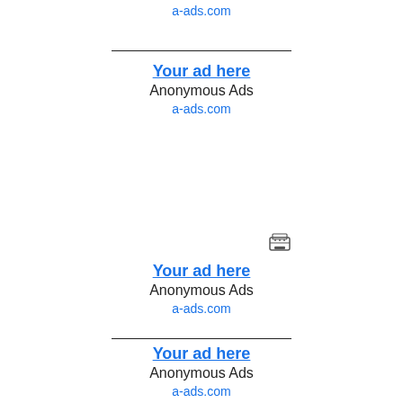a-ads.com
Your ad here
Anonymous Ads
a-ads.com
[Figure (other): Small typewriter/text icon]
Your ad here
Anonymous Ads
a-ads.com
Your ad here
Anonymous Ads
a-ads.com